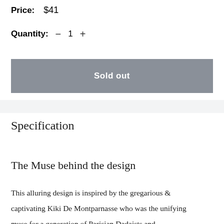Price: $41
Quantity: − 1 +
Sold out
Specification
The Muse behind the design
This alluring design is inspired by the gregarious & captivating Kiki De Montparnasse who was the unifying muse for a generation of Parisian Dadaists and Surrealists. Despite her intimidating beauty and